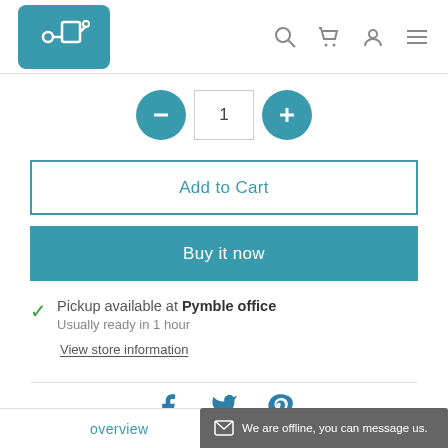[Figure (logo): Teal rounded square logo with circuit/loop icon]
[Figure (screenshot): Quantity selector with minus, 1, plus controls in teal]
Add to Cart
Buy it now
Pickup available at Pymble office
Usually ready in 1 hour
View store information
[Figure (infographic): Social share icons: Facebook, Twitter, Pinterest in teal]
overview
We are offline, you can message us.